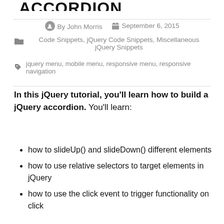ACCORDION
By John Morris   September 6, 2015
Code Snippets, jQuery Code Snippets, Miscellaneous jQuery Snippets
jquery menu, mobile menu, responsive menu, responsive navigation
In this jQuery tutorial, you'll learn how to build a jQuery accordion. You'll learn:
how to slideUp() and slideDown() different elements
how to use relative selectors to target elements in jQuery
how to use the click event to trigger functionality on click